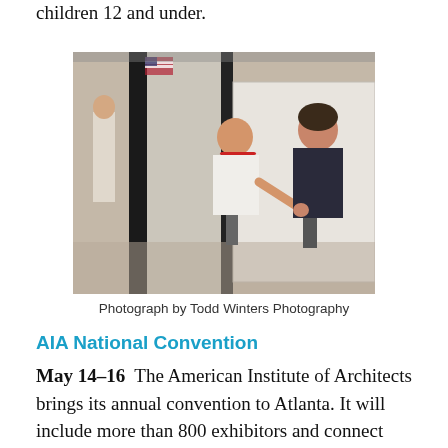children 12 and under.
[Figure (photo): Two people examining a wall surface inside a modern building interior with glass panels and structural columns. One person wears a red cap and white shirt; the other wears a dark sleeveless top. An American flag is visible in the background.]
Photograph by Todd Winters Photography
AIA National Convention
May 14–16  The American Institute of Architects brings its annual convention to Atlanta. It will include more than 800 exhibitors and connect architects, designers, innovators, and thought leaders in the field. Georgia World Congress Center